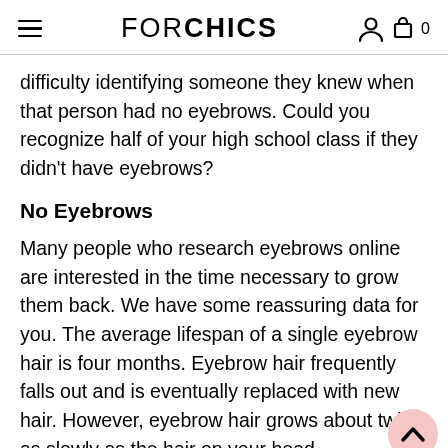FORCHICS
difficulty identifying someone they knew when that person had no eyebrows. Could you recognize half of your high school class if they didn't have eyebrows?
No Eyebrows
Many people who research eyebrows online are interested in the time necessary to grow them back. We have some reassuring data for you. The average lifespan of a single eyebrow hair is four months. Eyebrow hair frequently falls out and is eventually replaced with new hair. However, eyebrow hair grows about twice as slowly as the hair on your head.